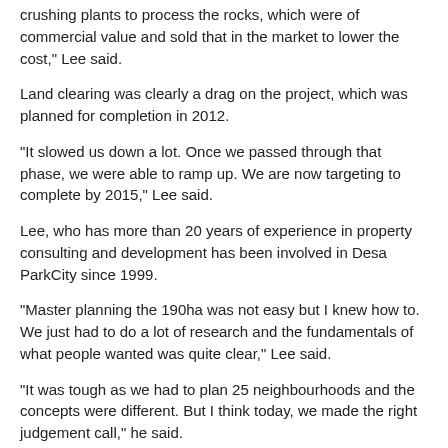crushing plants to process the rocks, which were of commercial value and sold that in the market to lower the cost," Lee said.
Land clearing was clearly a drag on the project, which was planned for completion in 2012.
"It slowed us down a lot. Once we passed through that phase, we were able to ramp up. We are now targeting to complete by 2015," Lee said.
Lee, who has more than 20 years of experience in property consulting and development has been involved in Desa ParkCity since 1999.
"Master planning the 190ha was not easy but I knew how to. We just had to do a lot of research and the fundamentals of what people wanted was quite clear," Lee said.
"It was tough as we had to plan 25 neighbourhoods and the concepts were different. But I think today, we made the right judgement call," he said.